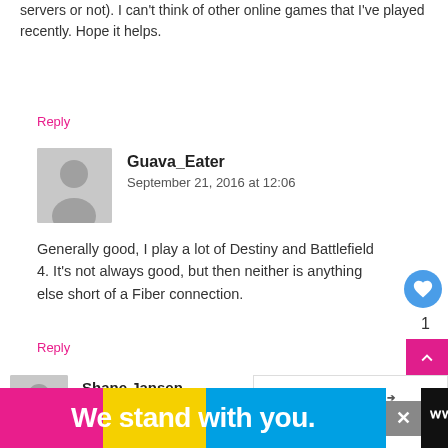servers or not). I can't think of other online games that I've played recently. Hope it helps.
Reply
Guava_Eater
September 21, 2016 at 12:06
Generally good, I play a lot of Destiny and Battlefield 4. It's not always good, but then neither is anything else short of a Fiber connection.
Reply
Shane Jansen
September 21, 2016 at 08:50
Some of us are paying 799 pm
[Figure (infographic): WHAT'S NEXT banner with Telkom SmartBroadba... text and a circular avatar image]
[Figure (infographic): Ad banner: We stand with you. Pink, yellow, and blue background with white bold text.]